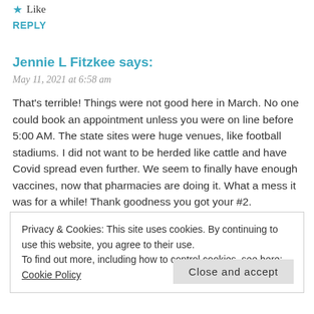★ Like
REPLY
Jennie L Fitzkee says:
May 11, 2021 at 6:58 am
That's terrible! Things were not good here in March. No one could book an appointment unless you were on line before 5:00 AM. The state sites were huge venues, like football stadiums. I did not want to be herded like cattle and have Covid spread even further. We seem to finally have enough vaccines, now that pharmacies are doing it. What a mess it was for a while! Thank goodness you got your #2.
Privacy & Cookies: This site uses cookies. By continuing to use this website, you agree to their use.
To find out more, including how to control cookies, see here: Cookie Policy
Close and accept